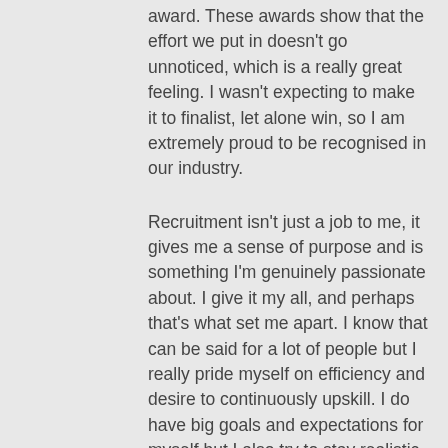award. These awards show that the effort we put in doesn't go unnoticed, which is a really great feeling. I wasn't expecting to make it to finalist, let alone win, so I am extremely proud to be recognised in our industry.
Recruitment isn't just a job to me, it gives me a sense of purpose and is something I'm genuinely passionate about. I give it my all, and perhaps that's what set me apart. I know that can be said for a lot of people but I really pride myself on efficiency and desire to continuously upskill. I do have big goals and expectations for myself but I also try to stay realistic.
I'm not set on being the highest billing